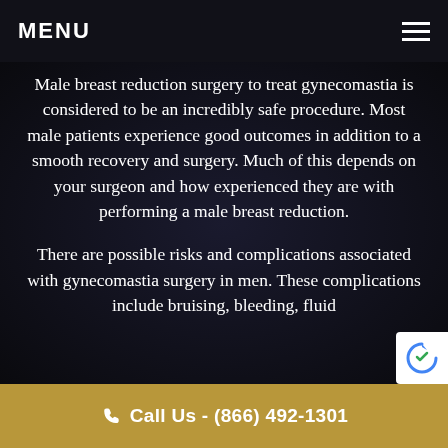MENU
Male breast reduction surgery to treat gynecomastia is considered to be an incredibly safe procedure. Most male patients experience good outcomes in addition to a smooth recovery and surgery. Much of this depends on your surgeon and how experienced they are with performing a male breast reduction.
There are possible risks and complications associated with gynecomastia surgery in men. These complications include bruising, bleeding, fluid
Call Us - (866) 492-1301